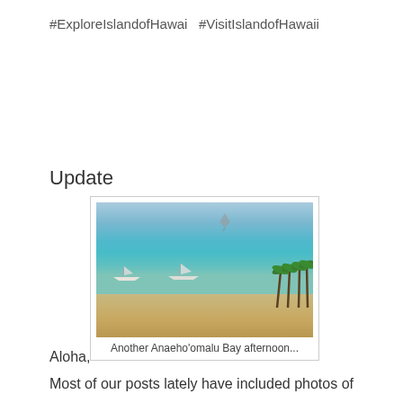#ExploreIslandofHawai  #VisitIslandofHawaii
Update
[Figure (photo): Beach scene at Anaeho'omalu Bay with turquoise ocean water, sailboats, a kite in the sky, sandy beach, and palm trees on the right side]
Another Anaeho’omalu Bay afternoon...
Aloha,
Most of our posts lately have included photos of